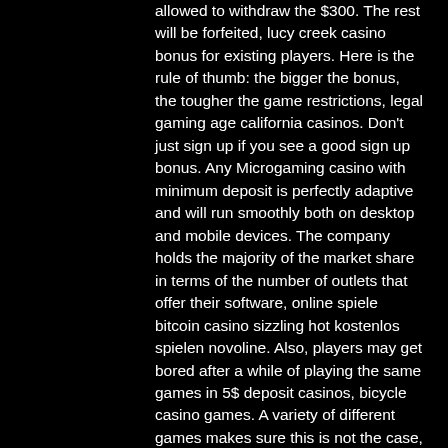allowed to withdraw the $300. The rest will be forfeited, lucy creek casino bonus for existing players. Here is the rule of thumb: the bigger the bonus, the tougher the game restrictions, legal gaming age california casinos. Don't just sign up if you see a good sign up bonus. Any Microgaming casino with minimum deposit is perfectly adaptive and will run smoothly both on desktop and mobile devices. The company holds the majority of the market share in terms of the number of outlets that offer their software, online spiele bitcoin casino sizzling hot kostenlos spielen novoline. Also, players may get bored after a while of playing the same games in 5$ deposit casinos, bicycle casino games. A variety of different games makes sure this is not the case, and the players can play for hours on end the online games they love.
Wheel of fortune daily spin, crazy money